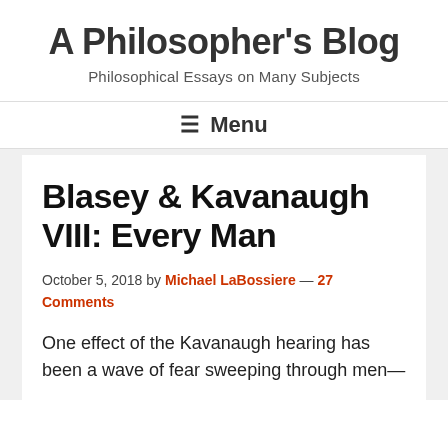A Philosopher's Blog
Philosophical Essays on Many Subjects
☰ Menu
Blasey & Kavanaugh VIII: Every Man
October 5, 2018 by Michael LaBossiere — 27 Comments
One effect of the Kavanaugh hearing has been a wave of fear sweeping through men—